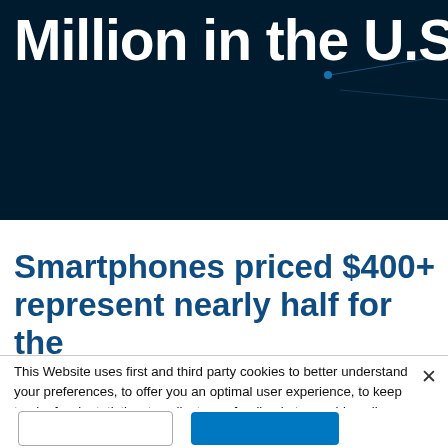Million in the U.S.
Smartphones priced $400+ represent nearly half for the big i
This Website uses first and third party cookies to better understand your preferences, to offer you an optimal user experience, to keep track of web statistics, to collect your feedback, to provide online advertising, to enable the integration of third party plug-ins and to keep the Websites operating as smoothly as possible.